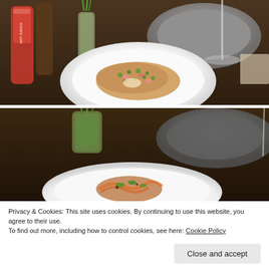[Figure (photo): Top photo: restaurant table with a white plate holding a flatbread/pizza with toppings including green herbs, peas, and other garnishes. A red sauce bottle on the left, glass vase with green onions, and a gray plate in the background.]
[Figure (photo): Bottom photo: restaurant table scene with a white plate containing food with vegetables/toppings, a glass jar with green herbs, and a dark gray plate in the background.]
Privacy & Cookies: This site uses cookies. By continuing to use this website, you agree to their use.
To find out more, including how to control cookies, see here: Cookie Policy
Close and accept